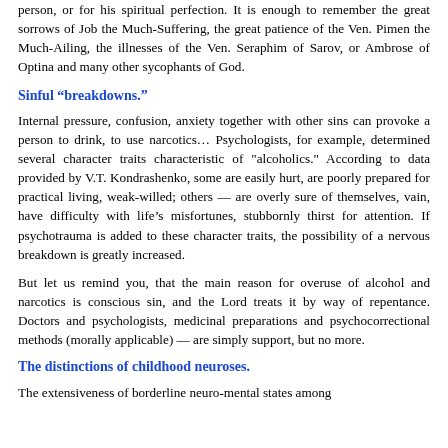person, or for his spiritual perfection. It is enough to remember the great sorrows of Job the Much-Suffering, the great patience of the Ven. Pimen the Much-Ailing, the illnesses of the Ven. Seraphim of Sarov, or Ambrose of Optina and many other sycophants of God.
Sinful “breakdowns.”
Internal pressure, confusion, anxiety together with other sins can provoke a person to drink, to use narcotics… Psychologists, for example, determined several character traits characteristic of "alcoholics." According to data provided by V.T. Kondrashenko, some are easily hurt, are poorly prepared for practical living, weak-willed; others — are overly sure of themselves, vain, have difficulty with life’s misfortunes, stubbornly thirst for attention. If psychotrauma is added to these character traits, the possibility of a nervous breakdown is greatly increased.
But let us remind you, that the main reason for overuse of alcohol and narcotics is conscious sin, and the Lord treats it by way of repentance. Doctors and psychologists, medicinal preparations and psychocorrectional methods (morally applicable) — are simply support, but no more.
The distinctions of childhood neuroses.
The extensiveness of borderline neuro-mental states among